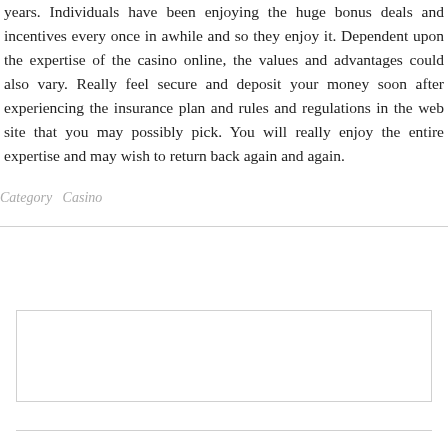years. Individuals have been enjoying the huge bonus deals and incentives every once in awhile and so they enjoy it. Dependent upon the expertise of the casino online, the values and advantages could also vary. Really feel secure and deposit your money soon after experiencing the insurance plan and rules and regulations in the web site that you may possibly pick. You will really enjoy the entire expertise and may wish to return back again and again.
Category   Casino